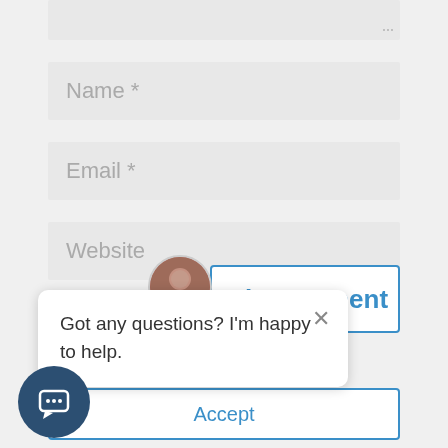[Figure (screenshot): Partially visible textarea input field at the top of the page with a resize handle in the bottom-right corner]
Name *
Email *
Website
Submit Comment
Consent
nd our service.
Accept
Got any questions? I'm happy to help.
[Figure (screenshot): Chat widget avatar (circular photo of a person) and close button X above a chat popup box]
[Figure (illustration): Dark blue circular chat widget button with speech bubble icon in the bottom left corner]